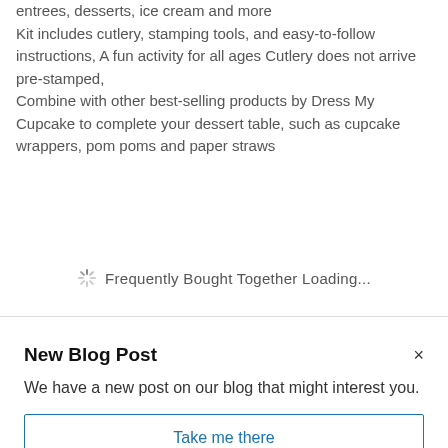weddings, baby showers and all special events, Great with entrees, desserts, ice cream and more
Kit includes cutlery, stamping tools, and easy-to-follow instructions, A fun activity for all ages Cutlery does not arrive pre-stamped,
Combine with other best-selling products by Dress My Cupcake to complete your dessert table, such as cupcake wrappers, pom poms and paper straws
Frequently Bought Together Loading...
New Blog Post
We have a new post on our blog that might interest you.
Take me there